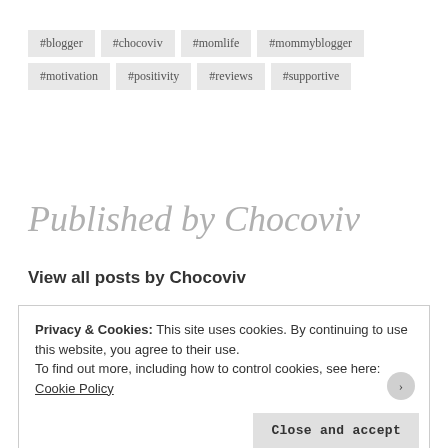#blogger
#chocoviv
#momlife
#mommyblogger
#motivation
#positivity
#reviews
#supportive
Published by Chocoviv
View all posts by Chocoviv
Privacy & Cookies: This site uses cookies. By continuing to use this website, you agree to their use.
To find out more, including how to control cookies, see here: Cookie Policy
Close and accept